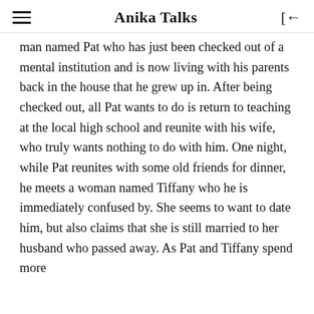Anika Talks
man named Pat who has just been checked out of a mental institution and is now living with his parents back in the house that he grew up in. After being checked out, all Pat wants to do is return to teaching at the local high school and reunite with his wife, who truly wants nothing to do with him. One night, while Pat reunites with some old friends for dinner, he meets a woman named Tiffany who he is immediately confused by. She seems to want to date him, but also claims that she is still married to her husband who passed away. As Pat and Tiffany spend more